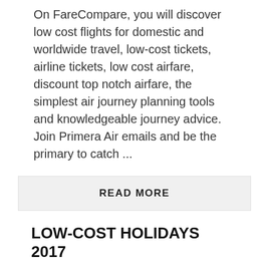On FareCompare, you will discover low cost flights for domestic and worldwide travel, low-cost tickets, airline tickets, low cost airfare, discount top notch airfare, the simplest air journey planning tools and knowledgeable journey advice. Join Primera Air emails and be the primary to catch ...
READ MORE
LOW-COST HOLIDAYS 2017
May 30, 2018  layla
Whether you're a frequent flyer or somebody who's purchasing for a ticket to that uncommon and far-awaited trip, these tips about the way to guide cheap flights will definitely save you some huge cash. A whole